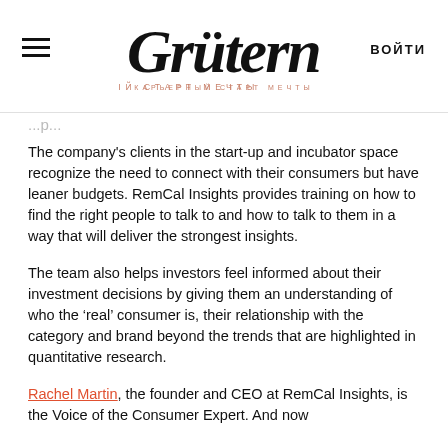Grütern — КАРЬЕРНЫЙ СТАРТ МЕЧТЫ | ВОЙТИ
The company's clients in the start-up and incubator space recognize the need to connect with their consumers but have leaner budgets. RemCal Insights provides training on how to find the right people to talk to and how to talk to them in a way that will deliver the strongest insights.
The team also helps investors feel informed about their investment decisions by giving them an understanding of who the 'real' consumer is, their relationship with the category and brand beyond the trends that are highlighted in quantitative research.
Rachel Martin, the founder and CEO at RemCal Insights, is the Voice of the Consumer Expert. And now